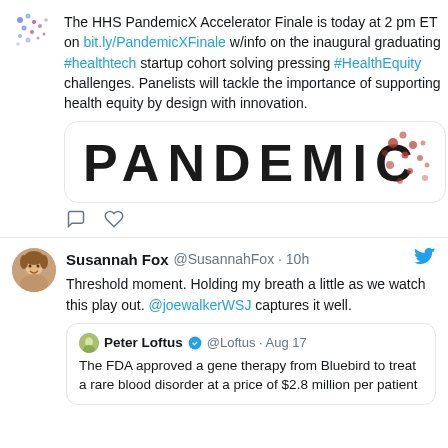[Figure (screenshot): Partial tweet with dot pattern avatar. Tweet text: 'The HHS PandemicX Accelerator Finale is today at 2 pm ET on bit.ly/PandemicXFinale w/info on the inaugural graduating #healthtech startup cohort solving pressing #HealthEquity challenges. Panelists will tackle the importance of supporting health equity by design with innovation.' Includes PANDEMIC X image and heart/comment icons.]
[Figure (screenshot): Tweet by Susannah Fox @SusannahFox 10h: 'Threshold moment. Holding my breath a little as we watch this play out. @joewalkerWSJ captures it well.' Quoted tweet by Peter Loftus @Loftus Aug 17: 'The FDA approved a gene therapy from Bluebird to treat a rare blood disorder at a price of $2.8 million per patient']